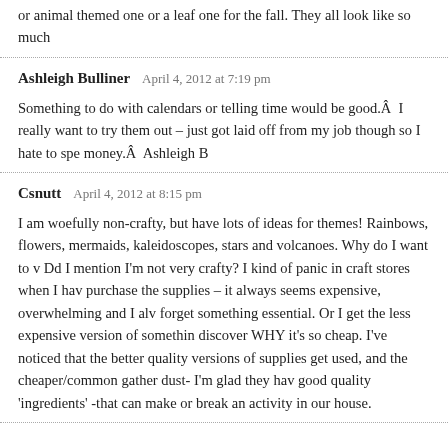or animal themed one or a leaf one for the fall. They all look like so much
Ashleigh Bulliner  April 4, 2012 at 7:19 pm

Something to do with calendars or telling time would be good.Â  I really want to try them out – just got laid off from my job though so I hate to spe money.Â  Ashleigh B
Csnutt  April 4, 2012 at 8:15 pm

I am woefully non-crafty, but have lots of ideas for themes! Rainbows, flowers, mermaids, kaleidoscopes, stars and volcanoes. Why do I want to w Dd I mention I'm not very crafty? I kind of panic in craft stores when I hav purchase the supplies – it always seems expensive, overwhelming and I alw forget something essential. Or I get the less expensive version of somethin discover WHY it's so cheap. I've noticed that the better quality versions of supplies get used, and the cheaper/common gather dust- I'm glad they hav good quality 'ingredients' -that can make or break an activity in our house.